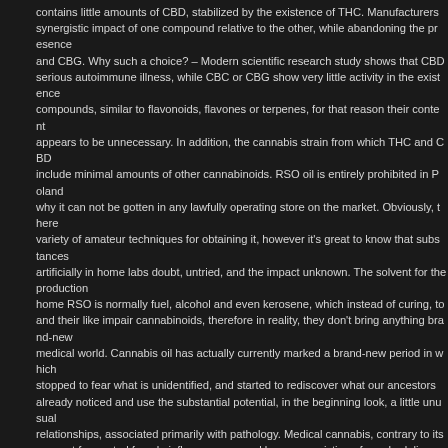contains little amounts of CBD, stabilized by the existence of THC. Manufacturers synergistic impact of one compound relative to the other, while abandoning the presence and CBG. Why such a choice? – Modern scientific research study shows that CBD causes serious autoimmune illness, while CBC or CBG show very little activity in the existence of compounds, similar to flavonoids, flavones or terpenes, for that reason their content appears to be unnecessary. In addition, the cannabis strain from which THC and CBD include minimal amounts of other cannabinoids. RSO oil is entirely prohibited in Poland why it can not be gotten in any lawfully operating store on the market. Obviously, there variety of amateur techniques for obtaining it, however it's great to know that substances artificially in home labs doubt, untried, and the impact unknown. The solvent for the production home RSO is normally fuel, alcohol and even kerosene, which instead of curing, to cannabinoids and their like impair cannabinoids, therefore in reality, they don't bring anything brand-new to the medical world. Cannabis oil has actually currently marked a brand-new period in which stopped to fear what is unidentified, and started to rediscover what our ancestors had already noticed and use the substantial potential, in the beginning look, a little unexpected relationships, associated primarily with pathology. Medical cannabis, contrary to its name, does not suggest fermented female inflorescences and leaves consisting of psychedelic compounds collected in so-called "Joints", but a beneficial oil without psychoactive THC. A standard individual taking dosages of medical cannabis and attaining the suitable state of cannabinoids in the blood, can take pleasure in increased immunity, decreased susceptibility to cancer, delayed aging and minimized threat of stroke or heart attack. CBD oil includes cannabidiol as a base ingredient and may contain only trace amounts of tetrahydroxycannabidiol (THC). RSO oil has a high cannabinoid content, while high THC. Both marijuana oil type CBD and RSO likewise contain other cannabinoids, such as cannabichromene (CBC) and cannabigerol (CBG). CBD m oil is a rather beneficial blend of cannabinoids, created to protect against 21st century diseases. Use of marijuana in a kind of pastime APR includes little quantities of CBD, balanced by the presence of THC.